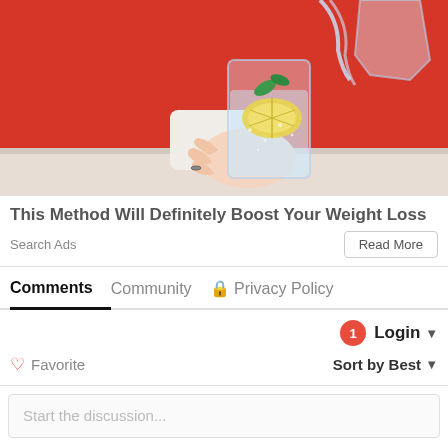[Figure (photo): Person in red sweater holding a glass of water with lemon and mint, water being poured from a pitcher]
This Method Will Definitely Boost Your Weight Loss
Search Ads
Read More
Comments  Community  🔒 Privacy Policy
1  Login ▾
♡ Favorite  Sort by Best ▾
Start the discussion...